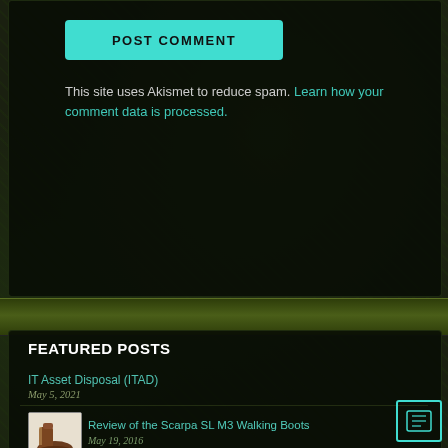POST COMMENT
This site uses Akismet to reduce spam. Learn how your comment data is processed.
FEATURED POSTS
IT Asset Disposal (ITAD)
May 5, 2021
[Figure (photo): Brown hiking boot thumbnail]
Review of the Scarpa SL M3 Walking Boots
May 19, 2016
[Figure (logo): Catalyst2 and Vidahost logos combined thumbnail]
Two Web Hosts I'd Happily Recommend
February 13, 2012
[Figure (screenshot): Firefox browser screenshot thumbnail]
How to make the Firefox disappearing Forward button disappear
February 2, 2012